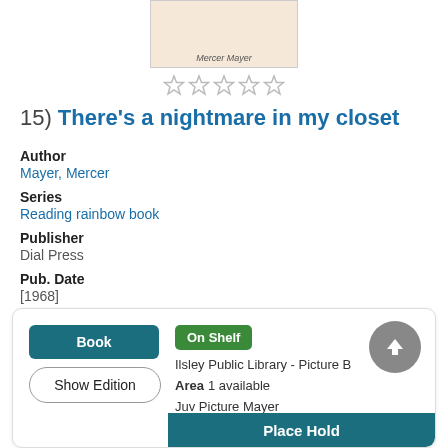[Figure (illustration): Book cover showing children's book illustration, author name Mercer Mayer at bottom]
[Figure (other): Five empty/outline star rating icons]
15) There's a nightmare in my closet
Author
Mayer, Mercer
Series
Reading rainbow book
Publisher
Dial Press
Pub. Date
[1968]
Physical Desc
1 v. (chiefly col. illus.) 29 cm.
Language
English
Book | Show Edition | On Shelf | Ilsley Public Library - Picture B Area 1 available | Juv Picture Mayer | Place Hold